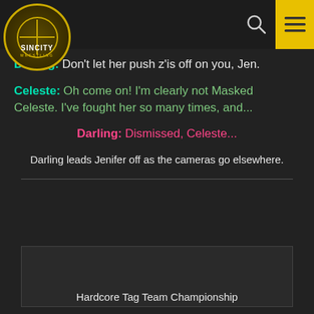[Figure (logo): Sin City Wrestling logo — circular gold badge with wrestling ring graphic, 'SINCITY' text and 'WRESTLING' below]
Darling: Don't let her push z'is off on you, Jen.
Celeste: Oh come on! I'm clearly not Masked Celeste. I've fought her so many times, and...
Darling: Dismissed, Celeste...
Darling leads Jenifer off as the cameras go elsewhere.
Hardcore Tag Team Championship